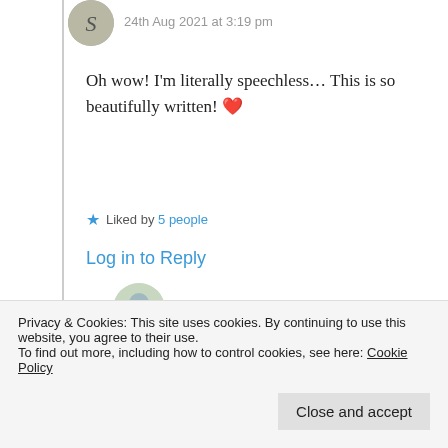[Figure (photo): User avatar circle with letter S, partially visible at top left]
24th Aug 2021 at 3:19 pm
Oh wow! I'm literally speechless… This is so beautifully written! ❤️
★ Liked by 5 people
Log in to Reply
[Figure (photo): Nested comment box with avatar of Suma Reddy partially visible]
Suma Reddy
Privacy & Cookies: This site uses cookies. By continuing to use this website, you agree to their use.
To find out more, including how to control cookies, see here: Cookie Policy
Close and accept